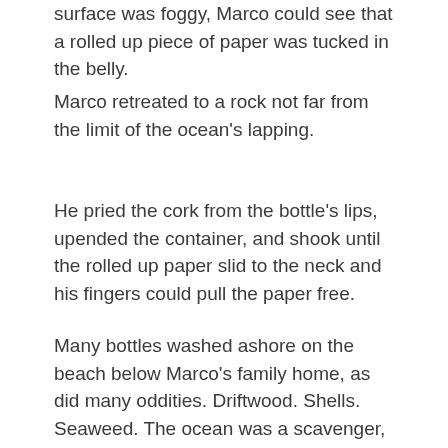surface was foggy, Marco could see that a rolled up piece of paper was tucked in the belly.
Marco retreated to a rock not far from the limit of the ocean's lapping.
He pried the cork from the bottle's lips, upended the container, and shook until the rolled up paper slid to the neck and his fingers could pull the paper free.
Many bottles washed ashore on the beach below Marco's family home, as did many oddities. Driftwood. Shells. Seaweed. The ocean was a scavenger, indiscriminant but prone to anger and tossing about its belongings in fits. Sometimes these things were treasures. But more often the ocean threw away other people's junk. Most of the bottles were that junk. Trash thrown away first by drunks and high